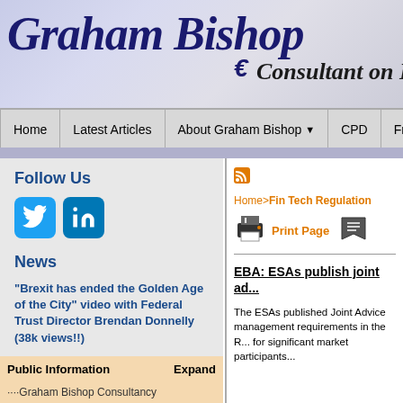[Figure (screenshot): Graham Bishop website header banner with script logo and 'Consultant on Eu...' subtitle]
Home | Latest Articles | About Graham Bishop | CPD | Friends
Follow Us
[Figure (logo): Twitter bird icon (blue square)]
[Figure (logo): LinkedIn 'in' icon (blue square)]
News
"Brexit has ended the Golden Age of the City" video with Federal Trust Director Brendan Donnelly (38k views!!)
Brexit and the City of London: April 2021 Video Update
Public Information   Expand
::::Graham Bishop Consultancy
[Figure (screenshot): RSS feed icon (orange square with waves)]
Home>Fin Tech Regulation
[Figure (illustration): Printer icon]
Print Page
[Figure (illustration): Book/save icon]
EBA: ESAs publish joint ad...
The ESAs published Joint Advice management requirements in the R... for significant market participants...